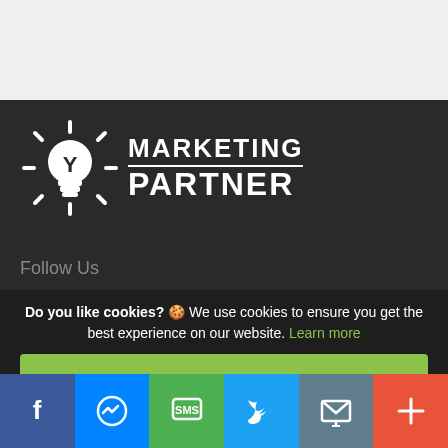[Figure (logo): Marketing Partner logo with lightbulb icon and text MARKETING PARTNER]
Follow Us
Do you like cookies? 🍪 We use cookies to ensure you get the best experience on our website. Learn more
I AGREE
[Figure (infographic): Bottom social sharing bar with Facebook, Messenger, SMS, Twitter, Email, and More buttons]